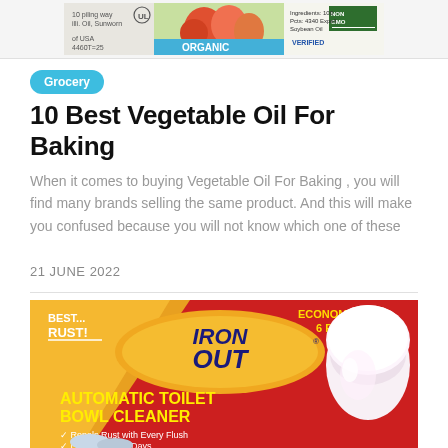[Figure (photo): Banner advertisement at top of page showing organic food product label with ORGANIC VERIFIED badge]
Grocery
10 Best Vegetable Oil For Baking
When it comes to buying Vegetable Oil For Baking , you will find many brands selling the same product. And this will make you confused because you will not know which one of these
21 JUNE 2022
[Figure (photo): Iron Out Automatic Toilet Bowl Cleaner Economy 6 Pack product image on red background. Text: BEST... RUST!, ECONOMY 6 PACK, IRON OUT, AUTOMATIC TOILET BOWL CLEANER, Repels Rust with Every Flush, Lasts Up to 45 Days. Shows toilet bowl and cleaning tablets.]